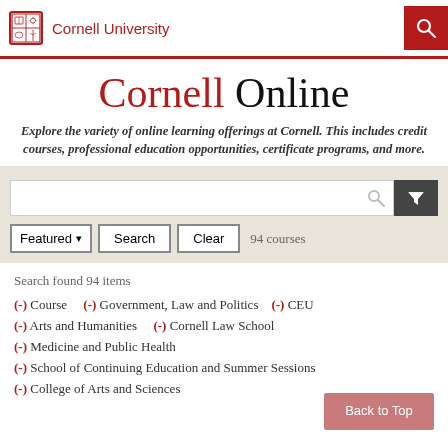Cornell University
Cornell Online
Explore the variety of online learning offerings at Cornell. This includes credit courses, professional education opportunities, certificate programs, and more.
Featured ▾  Search  Clear  94 courses
Search found 94 items
(-) Course   (-) Government, Law and Politics   (-) CEU
(-) Arts and Humanities   (-) Cornell Law School
(-) Medicine and Public Health
(-) School of Continuing Education and Summer Sessions
(-) College of Arts and Sciences